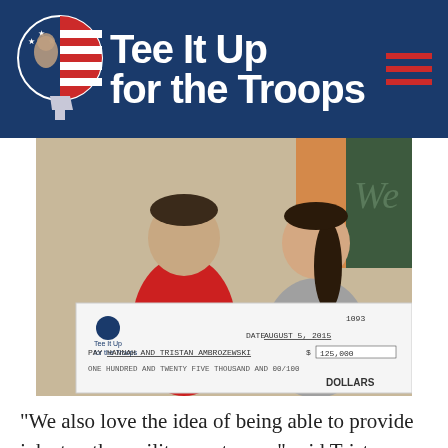[Figure (logo): Tee It Up for the Troops logo with circular emblem showing a silhouette face with stars and stripes, and a golf tee, on a dark navy banner background with red horizontal lines on the right side]
[Figure (photo): A man in a red polo shirt and a woman smiling, holding a large ceremonial check from Tee It Up for the Troops dated August 5, 2015 made out to Hannah and Tristan Ambrozewski for $125,000 (One Hundred and Twenty Five Thousand and 00/100 Dollars)]
“We also love the idea of being able to provide jobs to other military veterans,” said Tristan